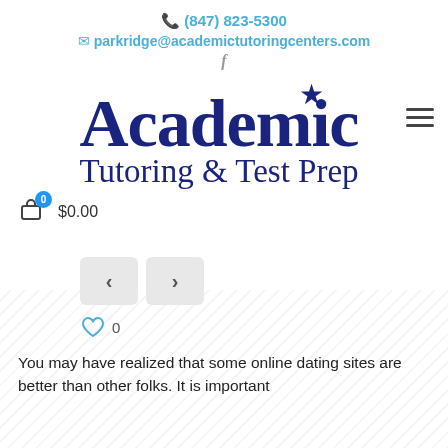📞 (847) 823-5300
✉ parkridge@academictutoringcenters.com
f
[Figure (logo): Academic Tutoring & Test Prep logo with star, dark blue serif text]
0  $0.00
[Figure (other): Navigation previous and next arrow buttons on diagonal striped background]
♡ 0
You may have realized that some online dating sites are better than other folks. It is important